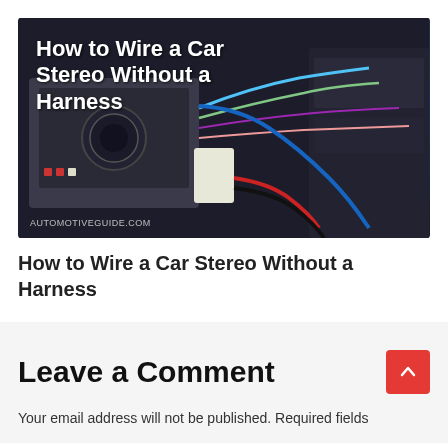[Figure (photo): A car stereo being wired without a harness — showing the back of a head unit with colorful wires and the vehicle dashboard in the background. Text overlay reads 'How to Wire a Car Stereo Without a Harness'. Watermark: AUTOMOTIVEGUIDE.COM]
How to Wire a Car Stereo Without a Harness
Leave a Comment
Your email address will not be published. Required fields